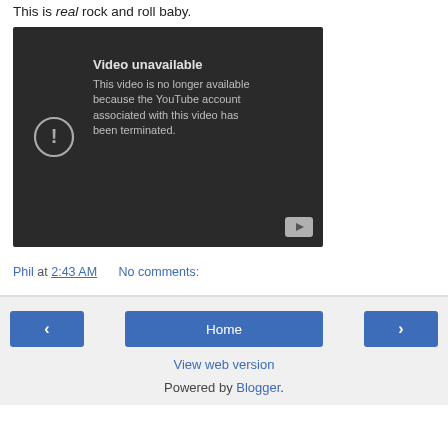This is real rock and roll baby.
[Figure (screenshot): Embedded YouTube video player showing 'Video unavailable' error message. Dark background with exclamation icon on left and text: 'Video unavailable. This video is no longer available because the YouTube account associated with this video has been terminated.' YouTube play button icon in bottom right corner.]
Phil at 2:43 AM    No comments:
‹   Home   ›   View web version   Powered by Blogger.